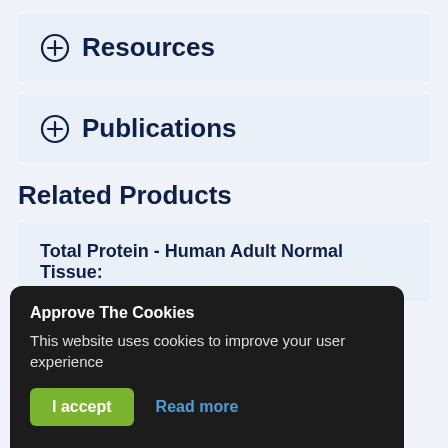⊕ Resources
⊕ Publications
Related Products
Total Protein - Human Adult Normal Tissue:
Approve The Cookies
This website uses cookies to improve your user experience
I accept  Read more